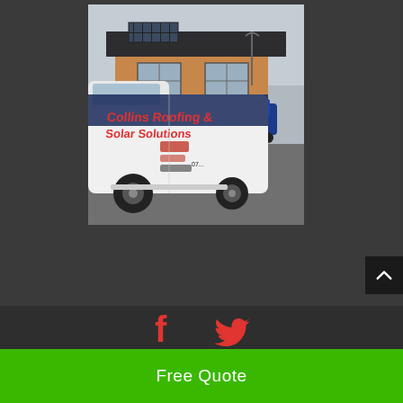[Figure (photo): A white van branded with 'Collins Roofing & Solar Solutions' in red text, parked in a residential street. Behind it is a brick house with solar panels on the roof.]
[Figure (illustration): Facebook and Twitter social media icons in red/orange color on a dark background]
Free Quote